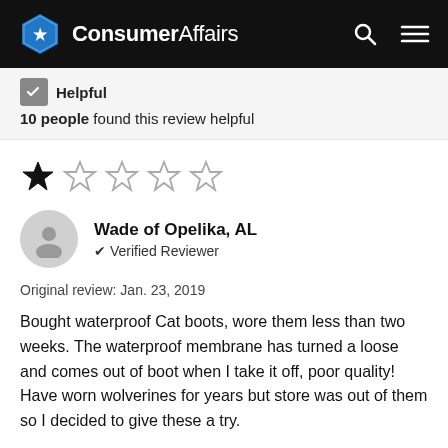ConsumerAffairs
Helpful
10 people found this review helpful
[Figure (other): 1 out of 5 stars rating — one filled black star followed by four empty outline stars]
Wade of Opelika, AL
✔ Verified Reviewer
Original review: Jan. 23, 2019
Bought waterproof Cat boots, wore them less than two weeks. The waterproof membrane has turned a loose and comes out of boot when I take it off, poor quality! Have worn wolverines for years but store was out of them so I decided to give these a try.